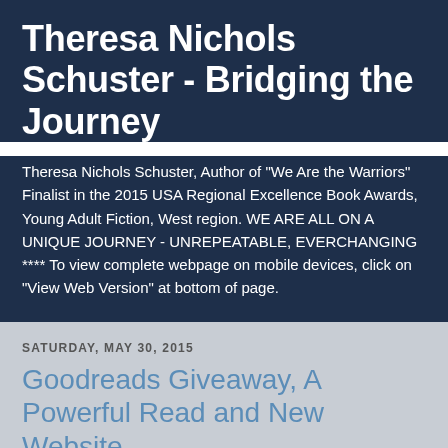Theresa Nichols Schuster - Bridging the Journey
Theresa Nichols Schuster, Author of "We Are the Warriors" Finalist in the 2015 USA Regional Excellence Book Awards, Young Adult Fiction, West region. WE ARE ALL ON A UNIQUE JOURNEY - UNREPEATABLE, EVERCHANGING **** To view complete webpage on mobile devices, click on "View Web Version" at bottom of page.
SATURDAY, MAY 30, 2015
Goodreads Giveaway, A Powerful Read and New Website